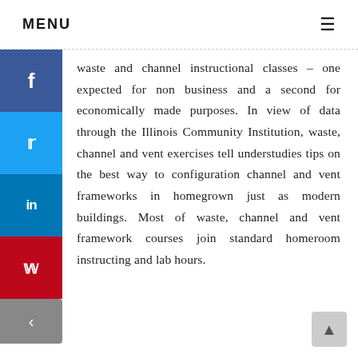MENU
waste and channel instructional classes – one expected for non business and a second for economically made purposes. In view of data through the Illinois Community Institution, waste, channel and vent exercises tell understudies tips on the best way to configuration channel and vent frameworks in homegrown just as modern buildings. Most of waste, channel and vent framework courses join standard homeroom instructing and lab hours.